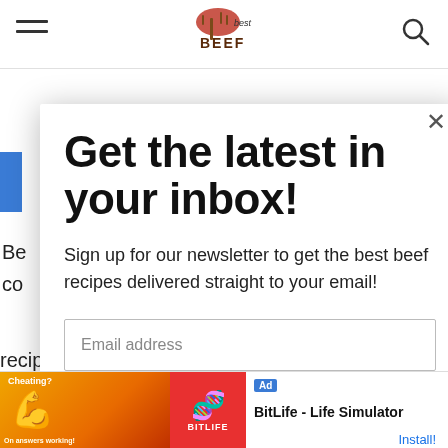best BEEF (logo/navbar)
Get the latest in your inbox!
Sign up for our newsletter to get the best beef recipes delivered straight to your email!
Email address
SUBSCRIBE
Ad  BitLife - Life Simulator  Install!